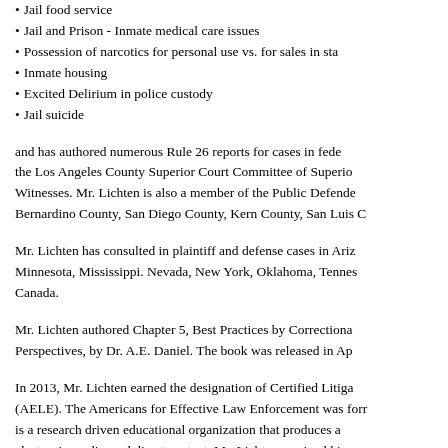Jail food service
Jail and Prison - Inmate medical care issues
Possession of narcotics for personal use vs. for sales in sta
Inmate housing
Excited Delirium in police custody
Jail suicide
and has authored numerous Rule 26 reports for cases in fede the Los Angeles County Superior Court Committee of Superio Witnesses. Mr. Lichten is also a member of the Public Defende Bernardino County, San Diego County, Kern County, San Luis C
Mr. Lichten has consulted in plaintiff and defense cases in Ariz Minnesota, Mississippi. Nevada, New York, Oklahoma, Tennes Canada.
Mr. Lichten authored Chapter 5, Best Practices by Correctiona Perspectives, by Dr. A.E. Daniel.  The book was released in Ap
In 2013, Mr. Lichten earned the designation of Certified Litiga (AELE). The Americans for Effective Law Enforcement was forr is a research driven educational organization that produces a electronic media, and direct contact. Mr. Lichten received his
Lethal and Less Lethal Use of Force
Arrest-Related, Excited Delirium, Sudden In-Custody Death, J
Management, Oversight, and Monitoring of Use of Force, inc